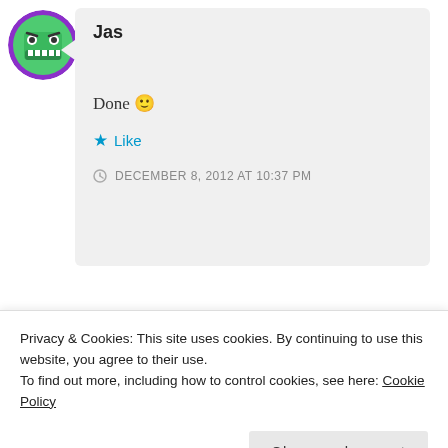[Figure (illustration): Green monster face avatar with purple border circle]
Jas
Done 🙂
★ Like
DECEMBER 8, 2012 AT 10:37 PM
[Figure (illustration): Second user avatar partially visible]
Privacy & Cookies: This site uses cookies. By continuing to use this website, you agree to their use.
To find out more, including how to control cookies, see here: Cookie Policy
Close and accept
★ Like